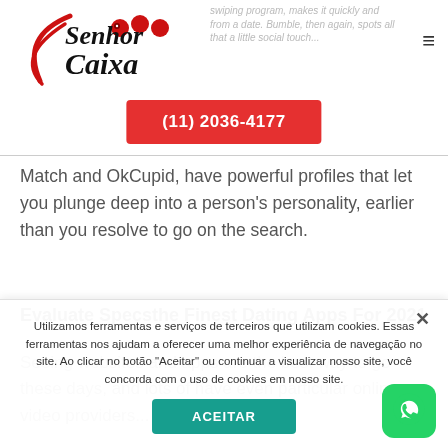[Figure (logo): Senhor Caixa logo with red swoosh and dots]
...swiping program, makes it quickly and from a date. Bumble, then again, spots all that a little social touch...
(11) 2036-4177
Match and OkCupid, have powerful profiles that let you plunge deep into a person's personality, earlier than you resolve to go on the search.
Evaluate Specsthe Finest Dating Apps For 2021
Seeing websites and apps are the best way to go these days, and lots of have even particular online video providers...
Utilizamos ferramentas e serviços de terceiros que utilizam cookies. Essas ferramentas nos ajudam a oferecer uma melhor experiência de navegação no site. Ao clicar no botão "Aceitar" ou continuar a visualizar nosso site, você concorda com o uso de cookies em nosso site.
ACEITAR